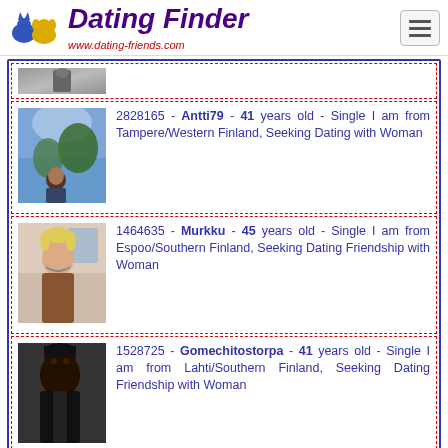Dating Finder - www.dating-friends.com
[Figure (photo): Partial profile photo at top, cropped]
2828165 - Antti79 - 41 years old - Single I am from Tampere/Western Finland, Seeking Dating with Woman
1464635 - Murkku - 45 years old - Single I am from Espoo/Southern Finland, Seeking Dating Friendship with Woman
1528725 - Gomechitostorpa - 41 years old - Single I am from Lahti/Southern Finland, Seeking Dating Friendship with Woman
Lovely woman from Iceland   Meet woman in France   Lovely
from Switzerland   Women in Monaco   Sin...